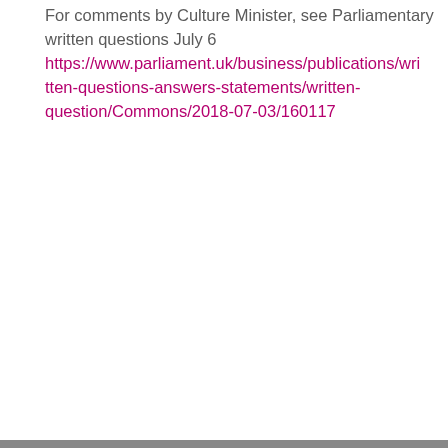For comments by Culture Minister, see Parliamentary written questions July 6 https://www.parliament.uk/business/publications/written-questions-answers-statements/written-question/Commons/2018-07-03/160117